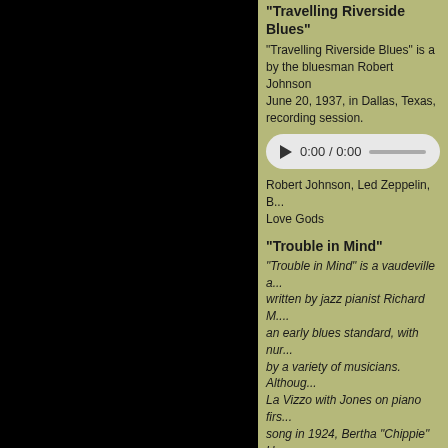"Travelling Riverside Blues"
"Travelling Riverside Blues" is a ... by the bluesman Robert Johnson ... June 20, 1937, in Dallas, Texas, ... recording session.
[Figure (other): Audio player showing 0:00 / 0:00 with progress bar]
Robert Johnson, Led Zeppelin, B... Love Gods
"Trouble in Mind"
"Trouble in Mind" is a vaudeville ... written by jazz pianist Richard M.... an early blues standard, with num... by a variety of musicians. Althoug... La Vizzo with Jones on piano firs... song in 1924, Bertha "Chippie" H... song with her 1926 recording wit... trumpeter Louis Armstrong.
[Figure (other): Audio player showing 0:00 / 0:00 with progress bar]
Richard M. Jones, Bertha "Chipp... White, Victoria Spivey, Dinah Wa...